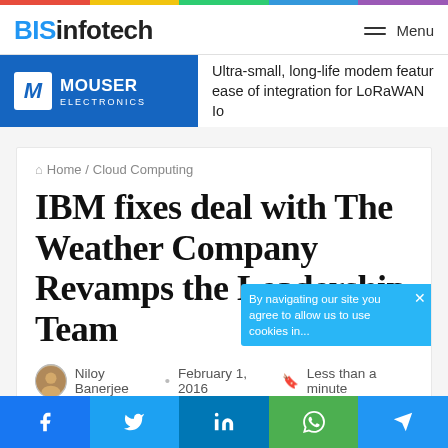BISinfotech — Menu
[Figure (other): Mouser Electronics advertisement banner: Ultra-small, long-life modem featuring ease of integration for LoRaWAN IoT]
Home / Cloud Computing
IBM fixes deal with The Weather Company Revamps the Leadership Team
Niloy Banerjee · February 1, 2016 · Less than a minute
[Figure (photo): Article header image with dark blue/purple background and stage lighting]
By navigating our site you agree to allow us to use cookies in...
f  y  in  (whatsapp)  (telegram)